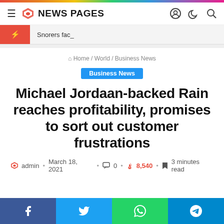NEWS PAGES
Snorers fac_
Home / World / Business News
Business News
Michael Jordaan-backed Rain reaches profitability, promises to sort out customer frustrations
admin · March 18, 2021 · 0 · 8,540 · 3 minutes read